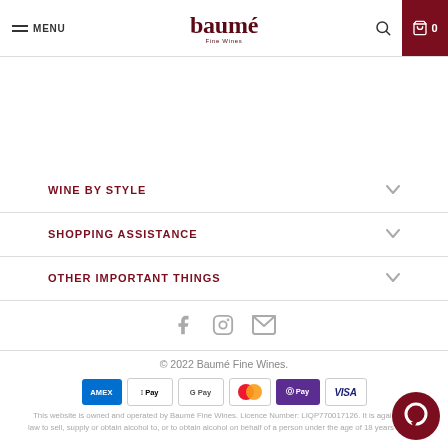MENU | baumé Fine Wines | Search | Cart 0
WINE BY STYLE
SHOPPING ASSISTANCE
OTHER IMPORTANT THINGS
[Figure (infographic): Social media icons: Facebook, Instagram, Email]
© 2022 Baumé Fine Wines.
[Figure (infographic): Payment method icons: Amex, Apple Pay, Google Pay, Mastercard, OPay, Visa]
This website is owned and operated by Baumé Fine Wines. Licence Number: LIQP770017126. It is against the law to sell, supply or obtain alcohol to, or to obtain alcohol on behalf of a person under the age of 18 years of age.